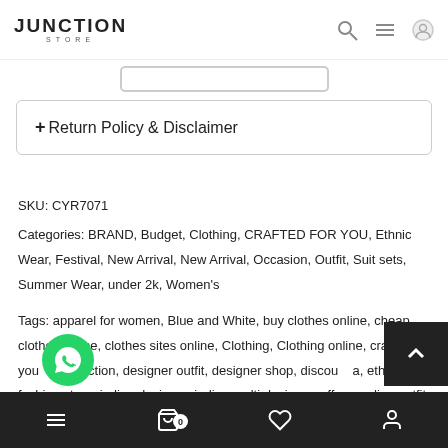JUNCTION STORE
+ Return Policy & Disclaimer
SKU: CYR7071
Categories: BRAND, Budget, Clothing, CRAFTED FOR YOU, Ethnic Wear, Festival, New Arrival, New Arrival, Occasion, Outfit, Suit sets, Summer Wear, under 2k, Women's
Tags: apparel for women, Blue and White, buy clothes online, cheap clothes online, clothes sites online, Clothing, Clothing online, crafted for you, er collection, designer outfit, designer shop, discount a, ethnic fashion store, indian designer, indian multi designer, offers, an outfit, indian wear, kurta set, multi designer online store,